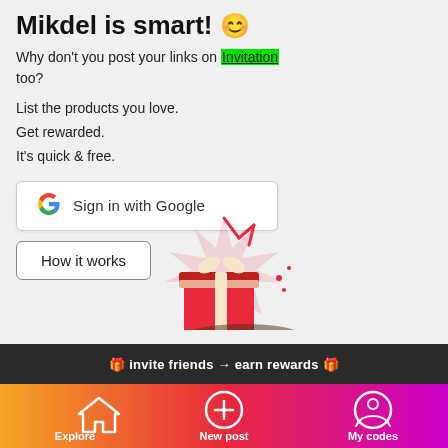Mikdel is smart! 😊
Why don't you post your links on Invitation too?
List the products you love.
Get rewarded.
It's quick & free.
[Figure (illustration): Sign in with Google button with Google G logo]
[Figure (illustration): How it works button]
[Figure (illustration): Gift box with sparkle illustration in red and cream colors]
🎁 invite friends → earn rewards 🎁
Explore   New post   My codes